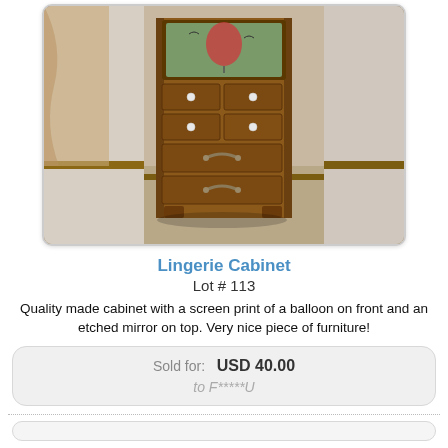[Figure (photo): Photo of a tall wooden lingerie cabinet with multiple drawers, decorative hardware knobs, and a framed panel on top with a screen print of a balloon. The cabinet is photographed in a room corner on carpet.]
Lingerie Cabinet
Lot # 113
Quality made cabinet with a screen print of a balloon on front and an etched mirror on top. Very nice piece of furniture!
Sold for:  USD 40.00
to F*****U